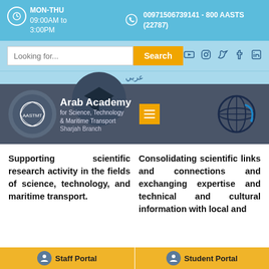MON-THU 09:00AM to 3:00PM | 00971506739141 - 800 AASTS (22787)
[Figure (screenshot): Website header with search bar, social icons, Arabic language toggle, Arab Academy for Science Technology & Maritime Transport Sharjah Branch logo, navigation hamburger menu, and globe icon]
Supporting scientific research activity in the fields of science, technology, and maritime transport.
Consolidating scientific links and connections and exchanging expertise and technical and cultural information with local and international institutions in